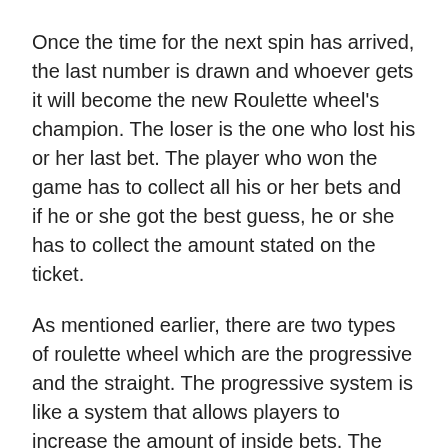Once the time for the next spin has arrived, the last number is drawn and whoever gets it will become the new Roulette wheel's champion. The loser is the one who lost his or her last bet. The player who won the game has to collect all his or her bets and if he or she got the best guess, he or she has to collect the amount stated on the ticket.
As mentioned earlier, there are two types of roulette wheel which are the progressive and the straight. The progressive system is like a system that allows players to increase the amount of inside bets. The straight system is the one that uses only the number one for the inside bets. The main difference between the two is that with the progressive wheel, the numbers that are drawn are based on the probability that they can come out during a game.